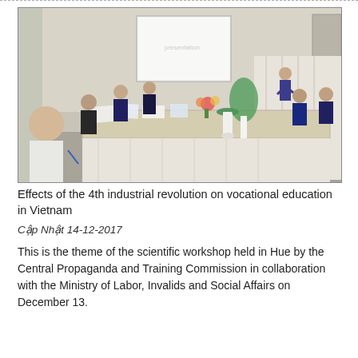[Figure (photo): A conference room scene showing participants seated at a long table during a scientific workshop. A presenter stands at the front near a projection screen displaying slides. Participants are taking notes and reviewing documents. Plants and floral arrangements decorate the table.]
Effects of the 4th industrial revolution on vocational education in Vietnam
Cập Nhật 14-12-2017
This is the theme of the scientific workshop held in Hue by the Central Propaganda and Training Commission in collaboration with the Ministry of Labor, Invalids and Social Affairs on December 13.